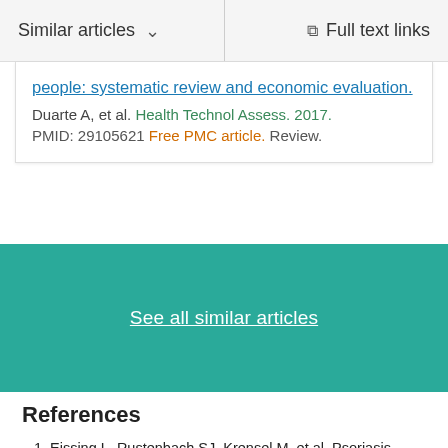Similar articles   ∨     Full text links
people: systematic review and economic evaluation.
Duarte A, et al. Health Technol Assess. 2017.
PMID: 29105621 Free PMC article. Review.
See all similar articles
References
Eissing L, Rustenbach SJ, Krensel M, et al. Psoriasis registries worldwide: systematic overview on registry publications. J Eur Acad Dermatol Venereol. 2016;30:1100–1106. doi: 10.1111/jdv.13634. - DOI - PubMed
Amin M, No DJ, Wu JJ. Review of U.S. registries for